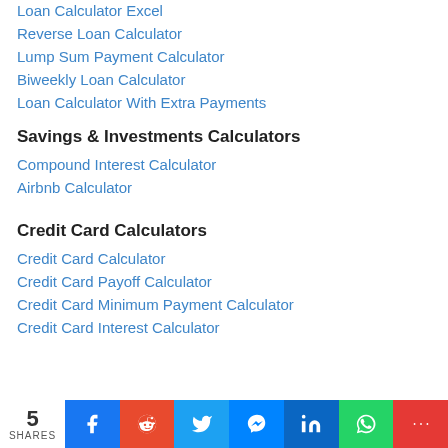Loan Calculator Excel
Reverse Loan Calculator
Lump Sum Payment Calculator
Biweekly Loan Calculator
Loan Calculator With Extra Payments
Savings & Investments Calculators
Compound Interest Calculator
Airbnb Calculator
Credit Card Calculators
Credit Card Calculator
Credit Card Payoff Calculator
Credit Card Minimum Payment Calculator
Credit Card Interest Calculator
5 SHARES | Facebook | Reddit | Twitter | Messenger | LinkedIn | WhatsApp | More